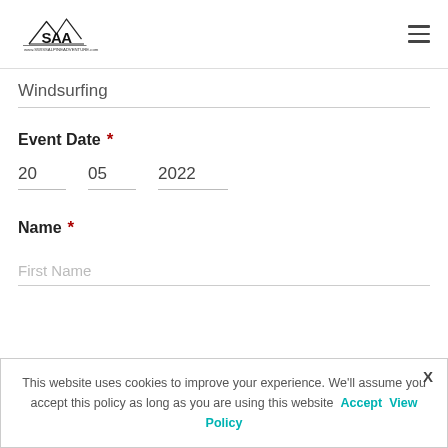Swiss Alpine Adventure - SAA logo and navigation menu
Windsurfing
Event Date *
20   05   2022
Name *
First Name
This website uses cookies to improve your experience. We'll assume you accept this policy as long as you are using this website  Accept  View Policy